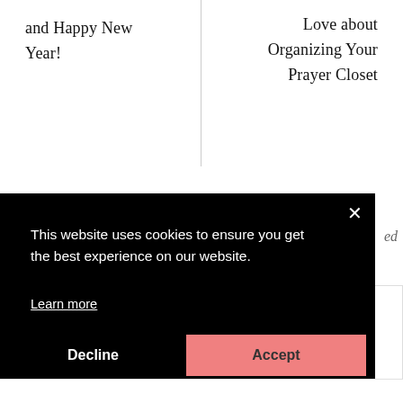and Happy New Year!
Love about Organizing Your Prayer Closet
LEAVE A REPLY
This website uses cookies to ensure you get the best experience on our website.

Learn more
Decline
Accept